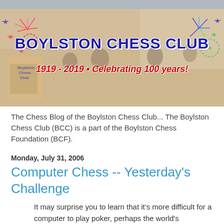[Figure (photo): Boylston Chess Club banner image showing people playing chess at tables, with colorful fireworks graphics and the text 'Boylston Chess Club' in dark blue bold letters and '1919 - 2019 • Celebrating 100 years!' in red italic text below.]
The Chess Blog of the Boylston Chess Club... The Boylston Chess Club (BCC) is a part of the Boylston Chess Foundation (BCF).
Monday, July 31, 2006
Computer Chess -- Yesterday's Challenge
It may surprise you to learn that it's more difficult for a computer to play poker, perhaps the world's